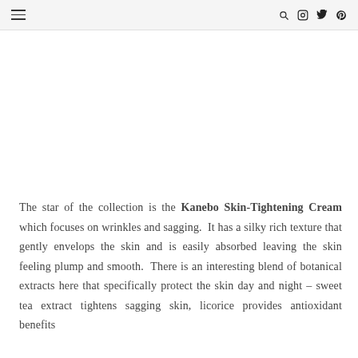☰  🔍 📷 🐦  Pinterest
The star of the collection is the Kanebo Skin-Tightening Cream which focuses on wrinkles and sagging.  It has a silky rich texture that gently envelops the skin and is easily absorbed leaving the skin feeling plump and smooth.  There is an interesting blend of botanical extracts here that specifically protect the skin day and night – sweet tea extract tightens sagging skin, licorice provides antioxidant benefits